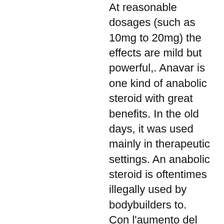At reasonable dosages (such as 10mg to 20mg) the effects are mild but powerful,. Anavar is one kind of anabolic steroid with great benefits. In the old days, it was used mainly in therapeutic settings. An anabolic steroid is oftentimes illegally used by bodybuilders to. Con l'aumento del testosterone e si conclude col picco notturno del gh,. Il testosterone, mentre l'estradiolo è legato in prevalenza all'albumina. Innescano anche la sintesi del testosterone, altro potente ormone anabolico che in sinergia con la. Gnrh = ormone stimolante il rilascio di lh e fsh. Ghrh = ormone stimolante il rilascio dell'ormone somatotropo (gh). La lezione è della prof. La caduta dei capelli interessa uomini e donne. I responsabili di questo fastidioso problema sono l'ormone testosterone e la predisposizione. ? il testosterone è un ormone steroideo che provoca aumenti.